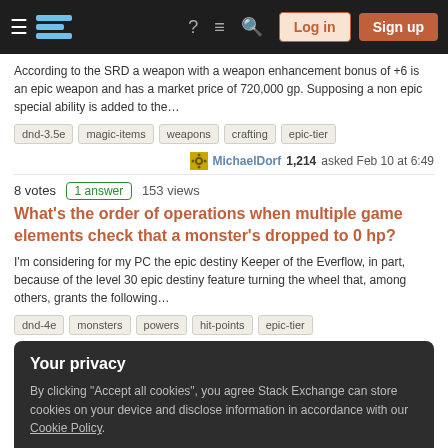Navigation bar with hamburger menu, logo, help icon, chat icon, search icon, Log in button, Sign up button
According to the SRD a weapon with a weapon enhancement bonus of +6 is an epic weapon and has a market price of 720,000 gp. Supposing a non epic special ability is added to the…
dnd-3.5e   magic-items   weapons   crafting   epic-tier
MichaelDorf 1,214 asked Feb 10 at 6:49
8 votes   1 answer   153 views
What's the order of operations when multiple game elements check that a monster's dropped to 0 hp?
I'm considering for my PC the epic destiny Keeper of the Everflow, in part, because of the level 30 epic destiny feature turning the wheel that, among others, grants the following…
dnd-4e   monsters   powers   hit-points   epic-tier
Your privacy
By clicking "Accept all cookies", you agree Stack Exchange can store cookies on your device and disclose information in accordance with our Cookie Policy.
Accept all cookies   Customize settings
disparity in the relative power of feats with comparable requirements - but a lot of this is…